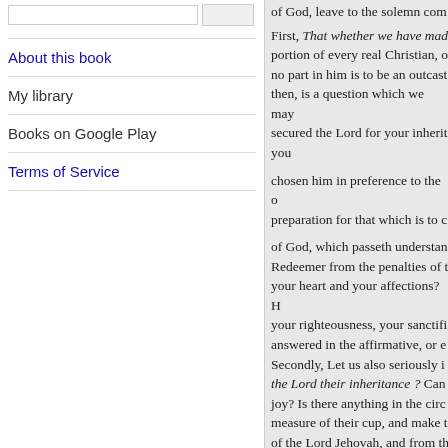About this book
My library
Books on Google Play
Terms of Service
of God, leave to the solemn com… First, That whether we have mad… portion of every real Christian, o… no part in him is to be an outcast… then, is a question which we may… secured the Lord for your inherit… you chosen him in preference to the o… preparation for that which is to c… of God, which passeth understan… Redeemer from the penalties of t… your heart and your affections? H… your righteousness, your sanctifi… answered in the affirmative, or e… Secondly, Let us also seriously i… the Lord their inheritance ? Can… joy? Is there anything in the circ… measure of their cup, and make t… of the Lord Jehovah, and from th… blessedness is rested on that sing… have laid